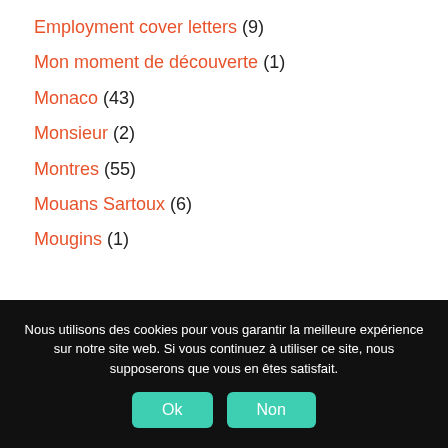Employment cover letters (9)
Mon moment de découverte (1)
Monaco (43)
Monsieur (2)
Montres (55)
Mouans Sartoux (6)
Mougins (1)
Nous utilisons des cookies pour vous garantir la meilleure expérience sur notre site web. Si vous continuez à utiliser ce site, nous supposerons que vous en êtes satisfait.
Ok  Non